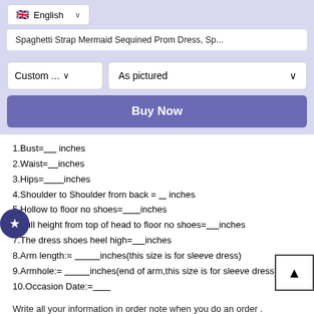English (language selector)
Spaghetti Strap Mermaid Sequined Prom Dress, Sp...
Custom ... dropdown | As pictured dropdown
Buy Now
1.Bust=_____ inches
2.Waist=_____inches
3.Hips=_________inches
4.Shoulder to Shoulder from back = ___ inches
5.Hollow to floor no shoes=________inches
6.Full height from top of head to floor no shoes=______inches
7.The dress shoes heel high=______inches
8.Arm length:= ___________inches(this size is for sleeve dress)
9.Armhole:= ___________inches(end of arm,this size is for sleeve dress)
10.Occasion Date:=_________
Write all your information in order note when you do an order .